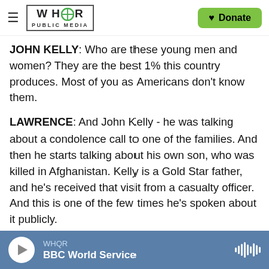WHQR PUBLIC MEDIA | Donate
JOHN KELLY: Who are these young men and women? They are the best 1% this country produces. Most of you as Americans don't know them.
LAWRENCE: And John Kelly - he was talking about a condolence call to one of the families. And then he starts talking about his own son, who was killed in Afghanistan. Kelly is a Gold Star father, and he's received that visit from a casualty officer. And this is one of the few times he's spoken about it publicly.
(SOUNDBITE OF ARCHIVED RECORDING)
WHQR | BBC World Service